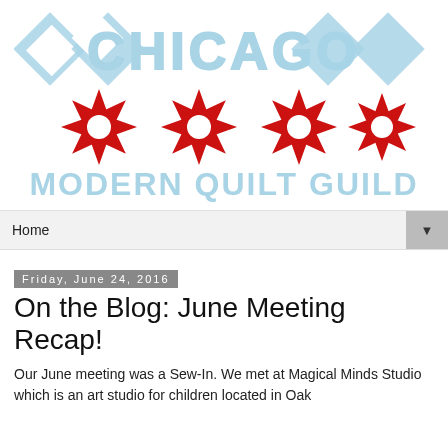[Figure (logo): Chicago Modern Quilt Guild logo with light blue triangles, 'CHICAGO' text, four red star/snowflake shapes, and 'MODERN QUILT GUILD' text in light blue]
Home
Friday, June 24, 2016
On the Blog: June Meeting Recap!
Our June meeting was a Sew-In. We met at Magical Minds Studio which is an art studio for children located in Oak